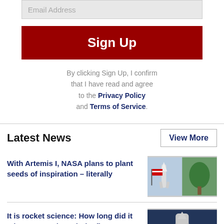Email Address
Sign Up
By clicking Sign Up, I confirm that I have read and agree to the Privacy Policy and Terms of Service.
Latest News
View More
With Artemis I, NASA plans to plant seeds of inspiration – literally
[Figure (photo): Collage of a rocket launch and a tree with American flag]
It is rocket science: How long did it take NASA to launch the first space shuttle?
[Figure (photo): Space shuttle launching with smoke and flames]